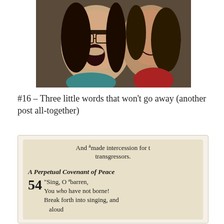[Figure (photo): Two young women smiling and laughing together in a selfie photo]
#16 – Three little words that won't go away (another post all-together)
[Figure (photo): Photo of a Bible page showing text: 'And made intercession for transgressors.' followed by section header 'A Perpetual Covenant of Peace' and verse 54: 'Sing, O barren, You who have not borne! Break forth into singing, and']